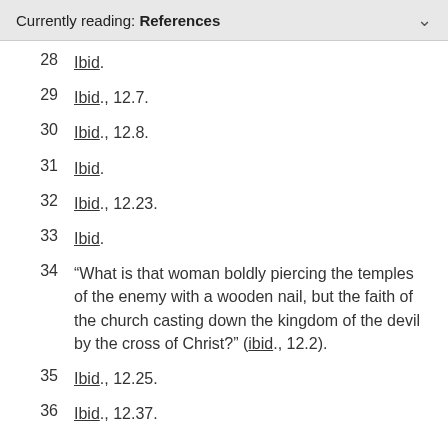Currently reading: References
28  Ibid.
29  Ibid., 12.7.
30  Ibid., 12.8.
31  Ibid.
32  Ibid., 12.23.
33  Ibid.
34  “What is that woman boldly piercing the temples of the enemy with a wooden nail, but the faith of the church casting down the kingdom of the devil by the cross of Christ?” (ibid., 12.2).
35  Ibid., 12.25.
36  Ibid., 12.37.